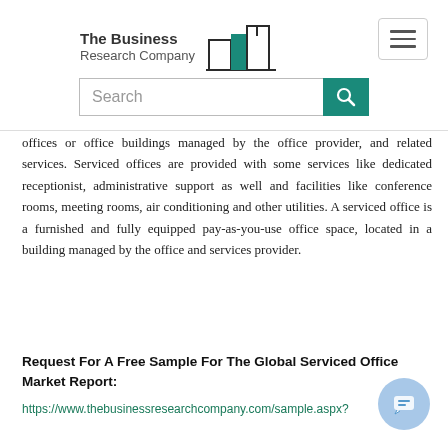The Business Research Company
offices or office buildings managed by the office provider, and related services. Serviced offices are provided with some services like dedicated receptionist, administrative support as well and facilities like conference rooms, meeting rooms, air conditioning and other utilities. A serviced office is a furnished and fully equipped pay-as-you-use office space, located in a building managed by the office and services provider.
Request For A Free Sample For The Global Serviced Office Market Report:
https://www.thebusinessresearchcompany.com/sample.aspx?